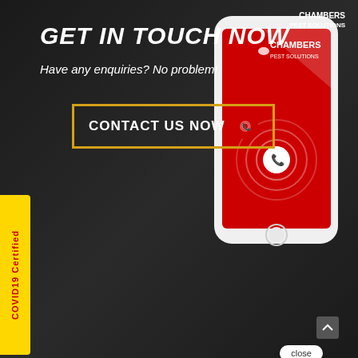[Figure (screenshot): Dark background with a smartphone showing Chambers Pest Solutions red screen, contact button with gold border, COVID19 Certified yellow side tab, chat popup with pest control expert message, subscribe form, sign up button]
GET IN TOUCH NOW
Have any enquiries? No problem!
CONTACT US NOW
COVID19 Certified
close
scribe to
Enter your em...
Speak to a Pest Control expert right now.. Text here
SIGN UP